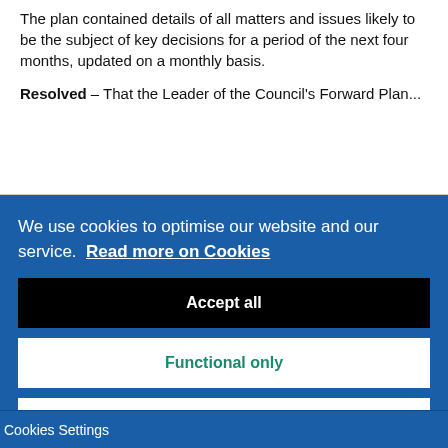The plan contained details of all matters and issues likely to be the subject of key decisions for a period of the next four months, updated on a monthly basis.
Resolved – That the Leader of the Council's Forward Plan...
We use cookies to optimise our website and our service. Read more on Cookies
Accept all
Functional only
Cookies preferences
Cookies Settings